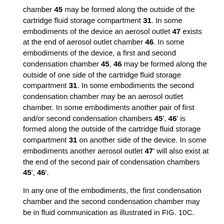chamber 45 may be formed along the outside of the cartridge fluid storage compartment 31. In some embodiments of the device an aerosol outlet 47 exists at the end of aerosol outlet chamber 46. In some embodiments of the device, a first and second condensation chamber 45, 46 may be formed along the outside of one side of the cartridge fluid storage compartment 31. In some embodiments the second condensation chamber may be an aerosol outlet chamber. In some embodiments another pair of first and/or second condensation chambers 45', 46' is formed along the outside of the cartridge fluid storage compartment 31 on another side of the device. In some embodiments another aerosol outlet 47' will also exist at the end of the second pair of condensation chambers 45', 46'.
In any one of the embodiments, the first condensation chamber and the second condensation chamber may be in fluid communication as illustrated in FIG. 10C.
In some embodiments, the mouthpiece may comprise an aerosol outlet 47 in fluid communication with the second condensation chamber 46. The mouthpiece may comprise